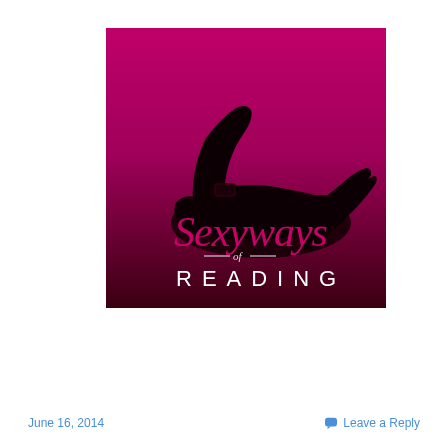[Figure (illustration): Book cover or logo image for 'Sexyways of Reading'. Magenta/dark red background with a black silhouette of a woman reclining. Text reads 'Sexyways' in cursive pink script, '=of=' in small serif text, and 'READING' in spaced white capital letters.]
June 16, 2014      Leave a Reply